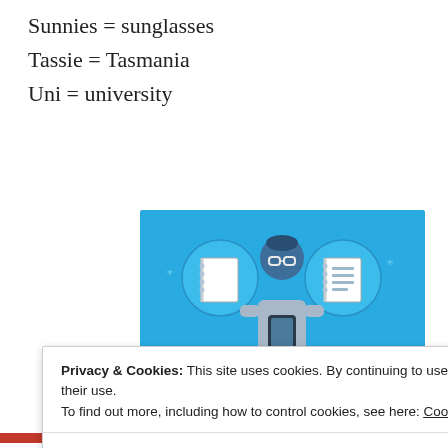Sunnies = sunglasses
Tassie = Tasmania
Uni = university
[Figure (illustration): Day One app advertisement banner on a light blue background showing a person holding a phone with two circular icons (notebook and list), text 'DAY ONE' and 'The only journaling app you'll ever need.']
Privacy & Cookies: This site uses cookies. By continuing to use this website, you agree to their use.
To find out more, including how to control cookies, see here: Cookie Policy
Close and accept